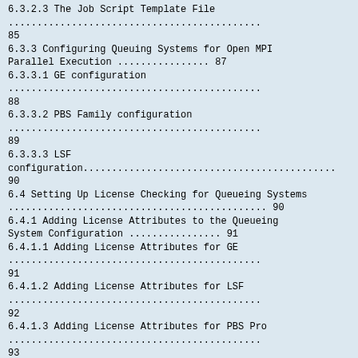6.3.2.3 The Job Script Template File ............................................. 85
6.3.3 Configuring Queuing Systems for Open MPI Parallel Execution ................ 87
6.3.3.1 GE configuration ............................................. 88
6.3.3.2 PBS Family configuration ............................................. 89
6.3.3.3 LSF configuration............................................. 90
6.4 Setting Up License Checking for Queueing Systems ............................................. 90
6.4.1 Adding License Attributes to the Queueing System Configuration ................ 91
6.4.1.1 Adding License Attributes for GE ............................................. 91
6.4.1.2 Adding License Attributes for LSF ............................................. 92
6.4.1.3 Adding License Attributes for PBS Pro ............................................. 93
6.4.2 Configuring the Load Scripts ............................................. 94
6.4.3 Installing the Load Scripts.............................................